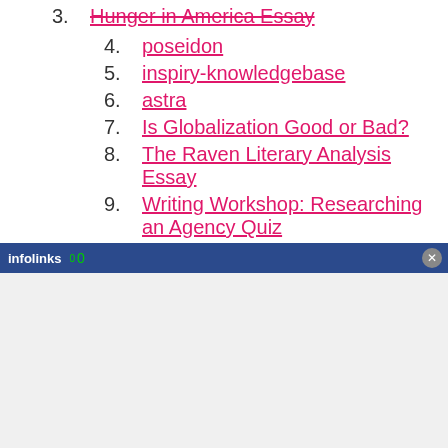3. Hunger in America Essay (strikethrough/link)
4. poseidon
5. inspiry-knowledgebase
6. astra
7. Is Globalization Good or Bad?
8. The Raven Literary Analysis Essay
9. Writing Workshop: Researching an Agency Quiz
10. The Operational Approach to Management
11. *Writing Workshop: Researching an Agency
12. Gov't Institutions-Writing Workshop
13. Is Walmart Good For America Essay
14. The Color Of Water Essay
15.
[Figure (screenshot): Infolinks advertisement bar at the bottom with a close button and an ad area below]